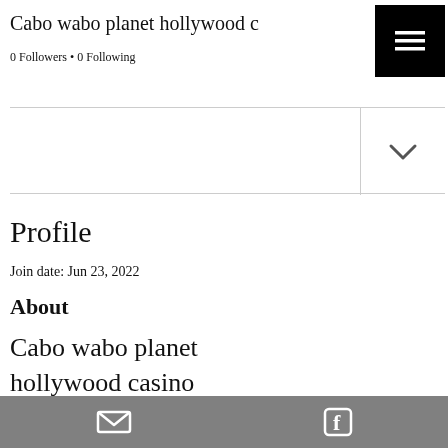Cabo wabo planet hollywood casino
0 Followers • 0 Following
Profile
Join date: Jun 23, 2022
About
Cabo wabo planet hollywood casino
Cabo wabo planet hollywood casino